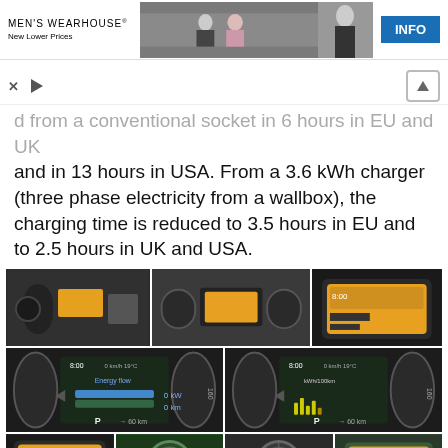[Figure (photo): Men's Wearhouse advertisement banner with couple in formal wear and man in tuxedo, INFO button]
d from a conventional socket in 6 hours in EU and UK and in 13 hours in USA. From a 3.6 kWh charger (three phase electricity from a wallbox), the charging time is reduced to 3.5 hours in EU and to 2.5 hours in UK and USA.
[Figure (photo): Grid of car interior photos showing smart electric car dashboard, instrument cluster, energy consumption display screens, charging port, and steering wheel details]
Privacy · Terms